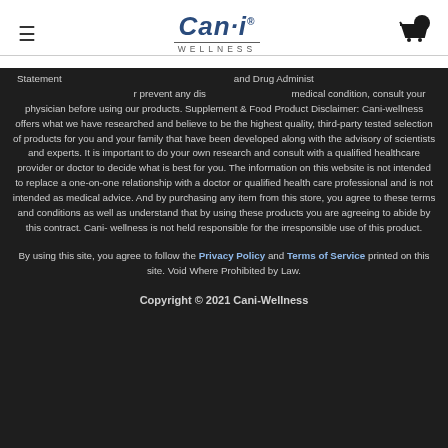[Figure (logo): Can-i Wellness logo with navigation bar including hamburger menu and shopping cart icon]
Statements have not been evaluated by the Food and Drug Administration and are not intended to diagnose, treat, cure, or prevent any disease. If you have a medical condition, consult your physician before using our products. Supplement & Food Product Disclaimer: Cani-wellness offers what we have researched and believe to be the highest quality, third-party tested selection of products for you and your family that have been developed along with the advisory of scientists and experts. It is important to do your own research and consult with a qualified healthcare provider or doctor to decide what is best for you. The information on this website is not intended to replace a one-on-one relationship with a doctor or qualified health care professional and is not intended as medical advice. And by purchasing any item from this store, you agree to these terms and conditions as well as understand that by using these products you are agreeing to abide by this contract. Cani-wellness is not held responsible for the irresponsible use of this product.
By using this site, you agree to follow the Privacy Policy and Terms of Service printed on this site. Void Where Prohibited by Law.
Copyright © 2021 Cani-Wellness